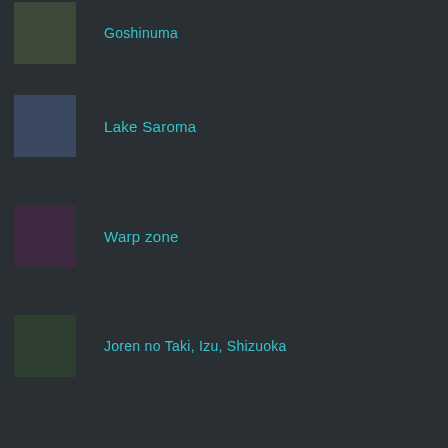Goshinuma
Lake Saroma
Warp zone
Joren no Taki, Izu, Shizuoka
Misyo Kikkawa
Takaosan Yakuoin
White Strawberry